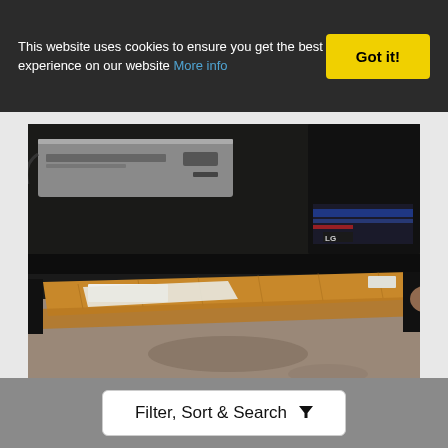This website uses cookies to ensure you get the best experience on our website More info
Got it!
[Figure (photo): Photo showing electronics (silver VCR/DVD player, black LG stereo/amplifier unit) on a dark shelf, with a long cardboard box/package stored underneath on the floor, photographed in a dimly lit indoor space.]
Filter, Sort & Search